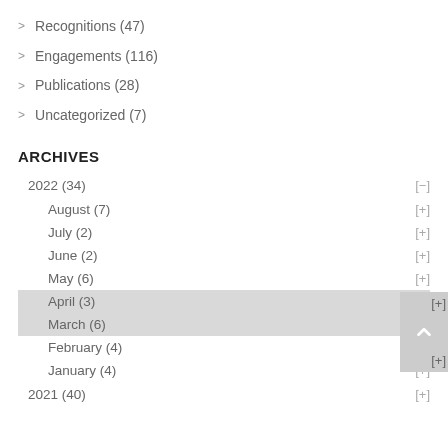> Recognitions (47)
> Engagements (116)
> Publications (28)
> Uncategorized (7)
ARCHIVES
2022 (34)  [-]
August (7)  [+]
July (2)  [+]
June (2)  [+]
May (6)  [+]
April (3)  [+]
March (6)  [+]
February (4)  [+]
January (4)  [+]
2021 (40)  [+]